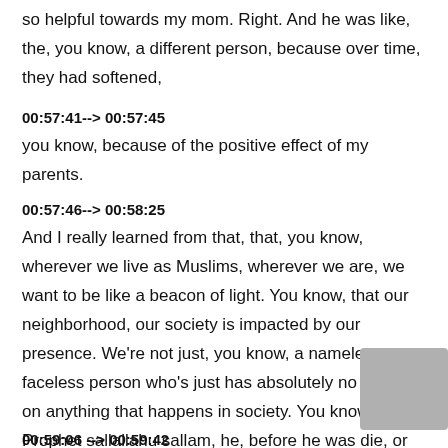so helpful towards my mom. Right. And he was like, the, you know, a different person, because over time, they had softened,
00:57:41--> 00:57:45
you know, because of the positive effect of my parents.
00:57:46--> 00:58:25
And I really learned from that, that, you know, wherever we live as Muslims, wherever we are, we want to be like a beacon of light. You know, that our neighborhood, our society is impacted by our presence. We're not just, you know, a nameless, faceless person who's just has absolutely no effect on anything that happens in society. You know, the Prophet sallallahu sallam, he, before he was die, or before he was a prophet sallallahu alayhi wa sallam, he was known for
00:59:06 --> 00:59:42